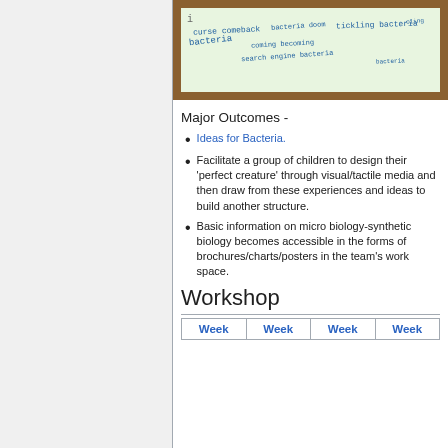[Figure (photo): A framed whiteboard or board with handwritten text in blue/green marker. Visible words include 'curse comeback bacteria', 'coming bacteria doom', 'tickling bacteria', 'search engine bacteria', and other partial phrases.]
Major Outcomes -
Ideas for Bacteria.
Facilitate a group of children to design their 'perfect creature' through visual/tactile media and then draw from these experiences and ideas to build another structure.
Basic information on micro biology-synthetic biology becomes accessible in the forms of brochures/charts/posters in the team's work space.
Workshop
| Week | Week | Week | Week |
| --- | --- | --- | --- |